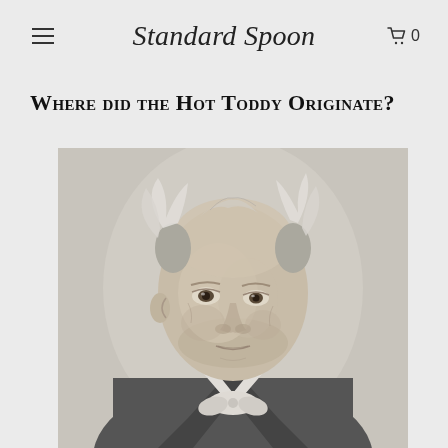Standard Spoon
Where did the Hot Toddy Originate?
[Figure (photo): Black and white engraved portrait of an elderly gentleman with white wispy hair, wearing a cravat and coat, shown from the chest up in a three-quarter view]